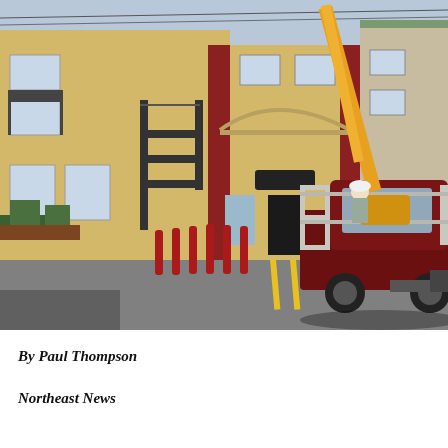[Figure (photo): A dark red pickup truck with a yellow boom lift/cherry picker crane extended upward is parked in the parking lot of a two-story yellow stucco building with dark red columns and arched architectural details. Several red bollards line the front of the building. A worker in a white hard hat is visible in the truck bed. The building appears to be a motel or commercial property.]
By Paul Thompson
Northeast News